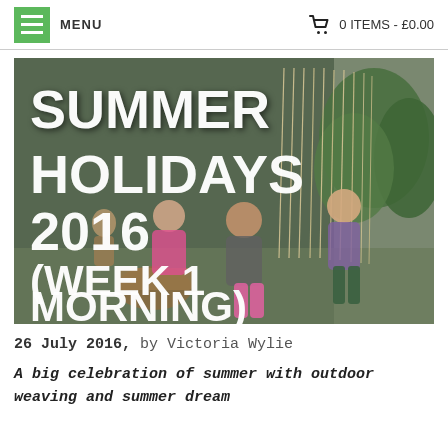MENU   0 ITEMS - £0.00
[Figure (photo): Children doing outdoor weaving at looms in a garden setting, with vertical string/yarn hanging from a frame. Text overlay reads: SUMMER HOLIDAYS 2016 (WEEK 1 MORNING)]
26 July 2016, by Victoria Wylie
A big celebration of summer with outdoor weaving and summer dream